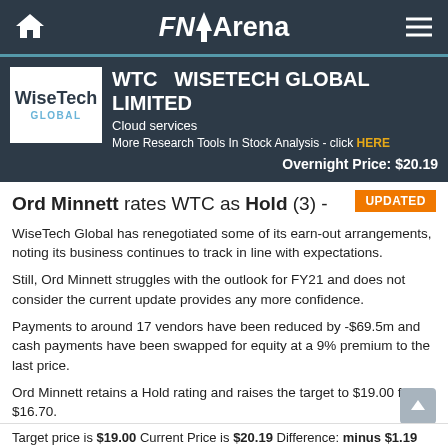FNArena
WTC  WISETECH GLOBAL LIMITED
Cloud services
More Research Tools In Stock Analysis - click HERE
Overnight Price: $20.19
Ord Minnett rates WTC as Hold (3) -
WiseTech Global has renegotiated some of its earn-out arrangements, noting its business continues to track in line with expectations.
Still, Ord Minnett struggles with the outlook for FY21 and does not consider the current update provides any more confidence.
Payments to around 17 vendors have been reduced by -$69.5m and cash payments have been swapped for equity at a 9% premium to the last price.
Ord Minnett retains a Hold rating and raises the target to $19.00 from $16.70.
Target price is $19.00 Current Price is $20.19 Difference: minus $1.19